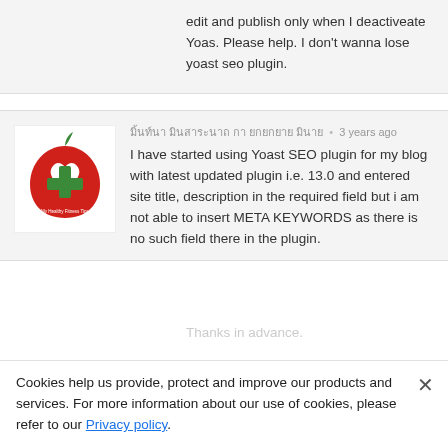edit and publish only when I deactiveate Yoas. Please help. I don't wanna lose yoast seo plugin.
มิ้นท์นา มินสาระนาถ กา ยกยกยาย มินาย • 3 years ago
I have started using Yoast SEO plugin for my blog with latest updated plugin i.e. 13.0 and entered site title, description in the required field but i am not able to insert META KEYWORDS as there is no such field there in the plugin.
Thanks in advance.
Cookies help us provide, protect and improve our products and services. For more information about our use of cookies, please refer to our Privacy policy.